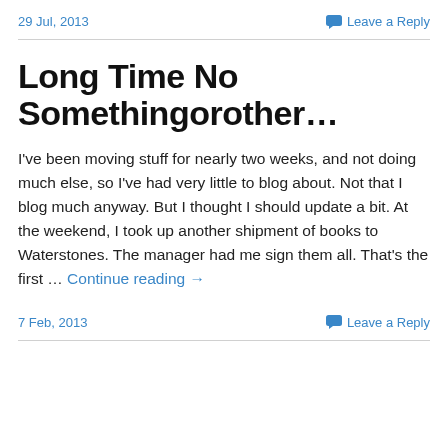29 Jul, 2013    Leave a Reply
Long Time No Somethingorother…
I've been moving stuff for nearly two weeks, and not doing much else, so I've had very little to blog about. Not that I blog much anyway. But I thought I should update a bit. At the weekend, I took up another shipment of books to Waterstones. The manager had me sign them all. That's the first … Continue reading →
7 Feb, 2013    Leave a Reply